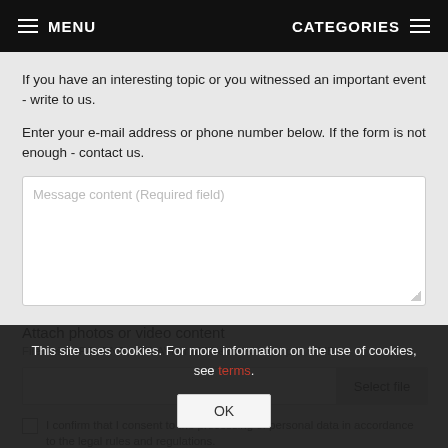MENU   CATEGORIES
If you have an interesting topic or you witnessed an important event - write to us.
Enter your e-mail address or phone number below. If the form is not enough - contact us.
[Figure (screenshot): Text area input field with placeholder 'Message content (Required field)']
Attach photos or video content
Files with JPG, PNG, GIF, AVI or MP4 extensions, up to 5 MB.
[Figure (screenshot): File input row with 'Select file' button]
I confirm that I consent to the processing of personal data in accordance to the legal rules and regulations.
This site uses cookies. For more information on the use of cookies, see terms.